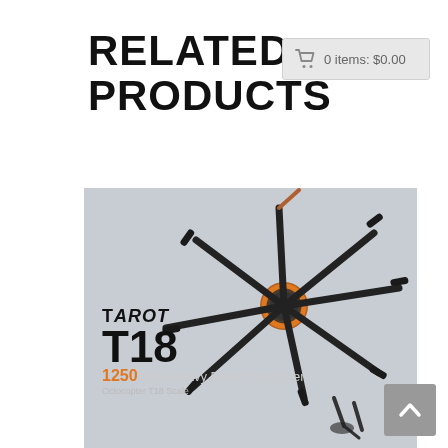RELATED PRODUCTS
[Figure (photo): Photo of Tarot T18 1250 Size Heavy Duty Octocopter drone frame with eight carbon fiber arms radiating from a central hub with orange accents, shot against a light grey background. Brand logo 'TAROT T18' and text '1250 Size Heavy Duty Octocopter' visible at the bottom of the image.]
🛒 0 items: $0.00